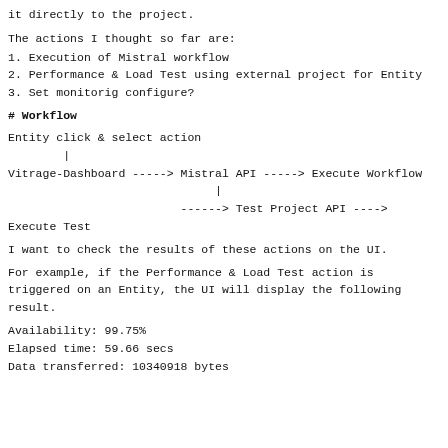it directly to the project.
The actions I thought so far are:
1. Execution of Mistral workflow
2. Performance & Load Test using external project for Entity
3. Set monitorig configure?
# Workflow
[Figure (flowchart): Flowchart showing: Entity click & select action -> Vitrage-Dashboard -----> Mistral API -----> Execute Workflow -> ------> Test Project API ----> Execute Test]
I want to check the results of these actions on the UI.
For example, if the Performance & Load Test action is triggered on an Entity, the UI will display the following result.
Availability: 99.75%
Elapsed time: 59.66 secs
Data transferred: 10340918 bytes